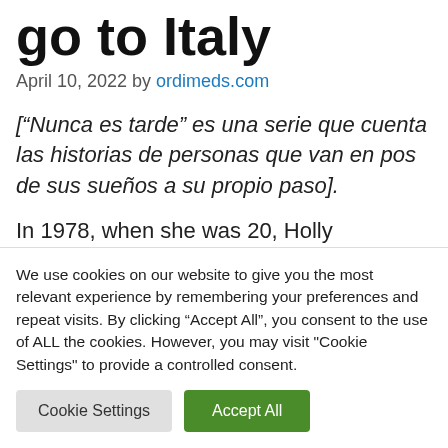go to Italy
April 10, 2022 by ordimeds.com
[“Nunca es tarde” es una serie que cuenta las historias de personas que van en pos de sus sueños a su propio paso].
In 1978, when she was 20, Holly Herrmann fl…
We use cookies on our website to give you the most relevant experience by remembering your preferences and repeat visits. By clicking “Accept All”, you consent to the use of ALL the cookies. However, you may visit “Cookie Settings” to provide a controlled consent.